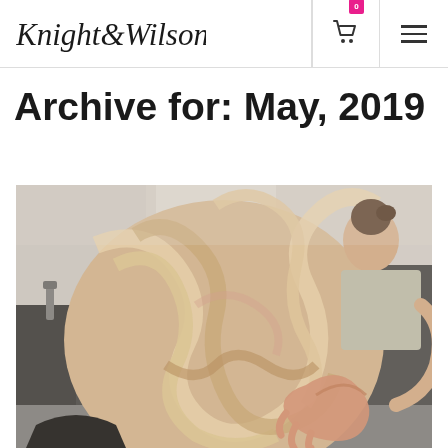Knight & Wilson
Archive for: May, 2019
[Figure (photo): Photo of a blonde woman getting her wavy hair styled in a hair salon, viewed from behind, with a stylist's hand visible holding the hair. Salon mirrors visible in background.]